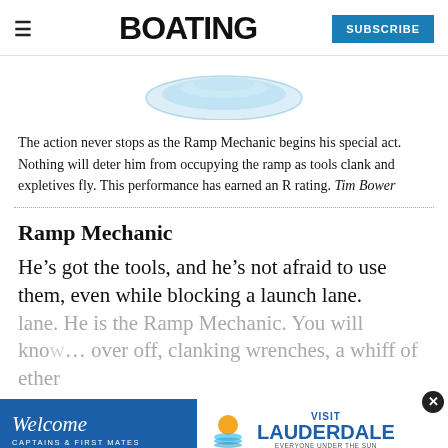BOATING | SUBSCRIBE
[Figure (illustration): Partial view of an illustrated plate or bowl, blue tones, cropped at top]
The action never stops as the Ramp Mechanic begins his special act. Nothing will deter him from occupying the ramp as tools clank and expletives fly. This performance has earned an R rating. Tim Bower
Ramp Mechanic
He’s got the tools, and he’s not afraid to use them, even while blocking a launch lane. He is the Ramp Mechanic. You will know… over off, clanking wrenches, a whiff of ether
[Figure (infographic): Advertisement banner: Welcome Captains & First Mates | Visit Lauderdale - Everyone Under the Sun]